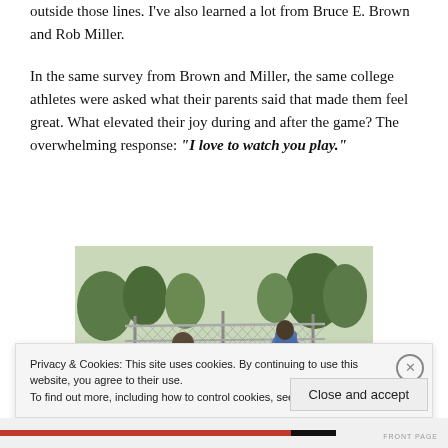outside those lines. I've also learned a lot from Bruce E. Brown and Rob Miller.
In the same survey from Brown and Miller, the same college athletes were asked what their parents said that made them feel great. What elevated their joy during and after the game? The overwhelming response: "I love to watch you play."
[Figure (photo): Two people viewed from behind, standing at a chain-link fence watching a sports game on a field with trees in the background.]
Privacy & Cookies: This site uses cookies. By continuing to use this website, you agree to their use.
To find out more, including how to control cookies, see here: Cookie Policy
Close and accept